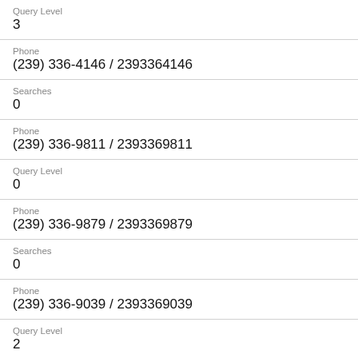Query Level
3
Phone
(239) 336-4146 / 2393364146
Searches
0
Phone
(239) 336-9811 / 2393369811
Query Level
0
Phone
(239) 336-9879 / 2393369879
Searches
0
Phone
(239) 336-9039 / 2393369039
Query Level
2